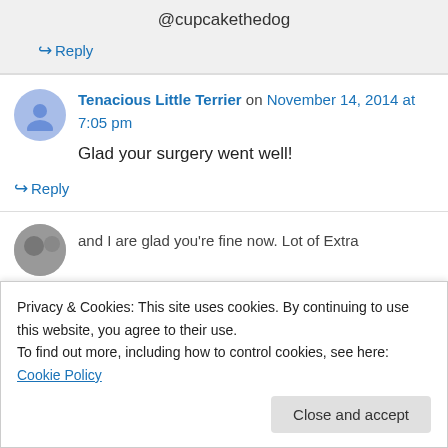@cupcakethedog
↪ Reply
Tenacious Little Terrier on November 14, 2014 at 7:05 pm
Glad your surgery went well!
↪ Reply
Privacy & Cookies: This site uses cookies. By continuing to use this website, you agree to their use.
To find out more, including how to control cookies, see here: Cookie Policy
Close and accept
and I are glad you're fine now. Lot of Extra